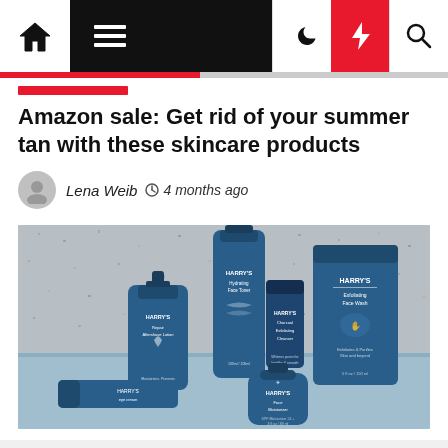Navigation bar with home, menu, moon, bolt, and search icons
Amazon sale: Get rid of your summer tan with these skincare products
Lena Weib  4 months ago
[Figure (photo): Harry's skincare product lineup — multiple blue bottles, tubes, and containers of Harry's branded skincare products arranged on a light blue surface against a speckled grey background.]